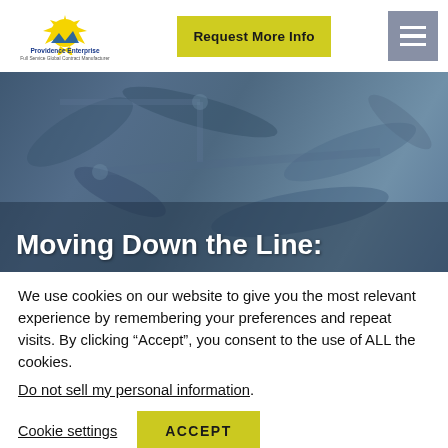Providence Enterprise — Request More Info
[Figure (screenshot): Hero image of circuit board and wrench tools with blue overlay and large white text 'Moving Down the Line:' partially visible]
Moving Down the Line:
We use cookies on our website to give you the most relevant experience by remembering your preferences and repeat visits. By clicking “Accept”, you consent to the use of ALL the cookies.
Do not sell my personal information.
Cookie settings   ACCEPT